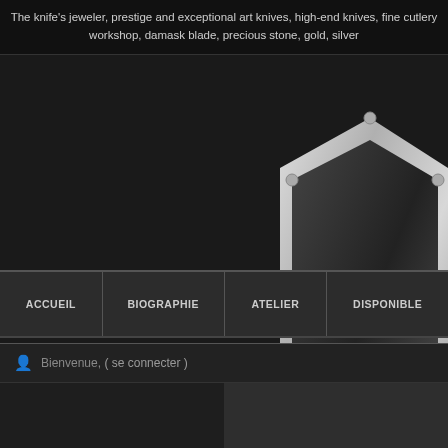The knife's jeweler, prestige and exceptional art knives, high-end knives, fine cutlery workshop, damask blade, precious stone, gold, silver
[Figure (logo): Hexagonal metallic logo with chrome/silver border on dark background, with partial text 'LA' visible below it]
ACCUEIL | BIOGRAPHIE | ATELIER | DISPONIBLE
Bienvenue, ( se connecter )